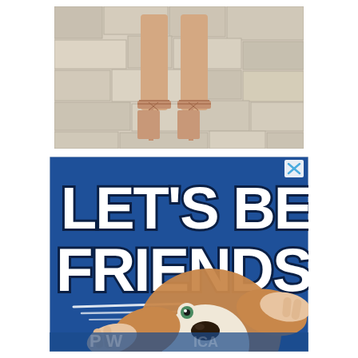[Figure (photo): Close-up photo of a woman's legs wearing beige lace-up high heel sandals, standing on a paved stone walkway with light-colored rectangular tiles.]
[Figure (photo): Advertisement with a blue background featuring large bold white text 'LET'S BE FRIENDS' with a basset hound dog having its ears held open by human hands. Small X close button in top right corner.]